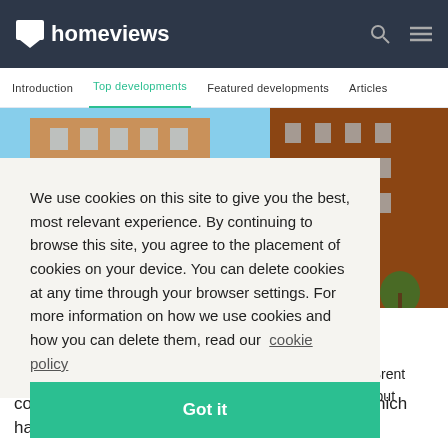homeviews
Introduction | Top developments | Featured developments | Articles
[Figure (photo): Exterior view of a large brick apartment building with mural artwork, against a blue sky.]
We use cookies on this site to give you the best, most relevant experience. By continuing to browse this site, you agree to the placement of cookies on your device. You can delete cookies at any time through your browser settings. For more information on how we use cookies and how you can delete them, read our cookie policy
Got it
d Brent e, but
cornucopia of shops and restaurants, many of which have